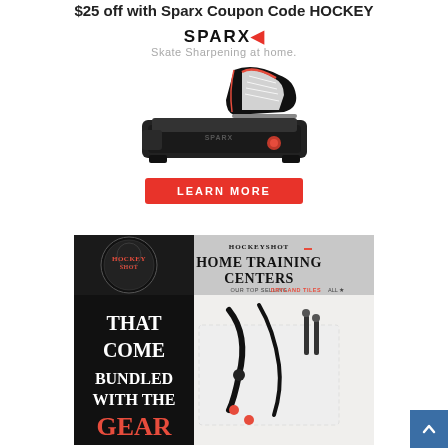$25 off with Sparx Coupon Code HOCKEY
[Figure (photo): Sparx skate sharpening machine advertisement with logo 'SPARX' with lightning bolt, tagline 'Skate Sharpening at home.', image of the machine with a hockey skate on top, and a red 'LEARN MORE' button]
[Figure (photo): HockeyShot advertisement banner showing 'HOME TRAINING CENTERS THAT COME BUNDLED WITH THE GEAR' with HockeyShot logo and product image of training gear on white surface]